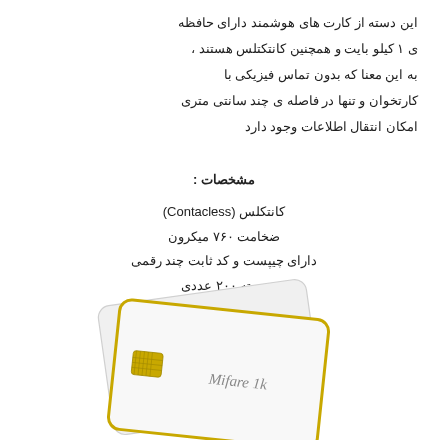این دسته از کارت های هوشمند دارای حافظه ی ۱ کیلو بایت و همچنین کانتکتلس هستند ، به این معنا که بدون تماس فیزیکی با کارتخوان و تنها در فاصله ی چند سانتی متری امکان انتقال اطلاعات وجود دارد
مشخصات :
کانتکلس (Contacless)
ضخامت ۷۶۰ میکرون
دارای چیپست و کد ثابت چند رقمی
بسته ۲۰۰ عددی
[Figure (illustration): Two white smart cards stacked at an angle, the front card has a gold chip and text 'Mifare 1k', the back card is plain white. Both cards have rounded corners.]